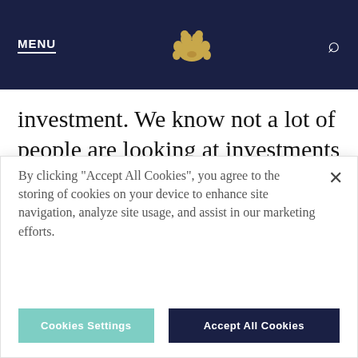MENU [bear logo] [search icon]
investment. We know not a lot of people are looking at investments right now, but the price was very inviting, coupled with the quality of the product
By clicking “Accept All Cookies”, you agree to the storing of cookies on your device to enhance site navigation, analyze site usage, and assist in our marketing efforts.
Cookies Settings  Accept All Cookies